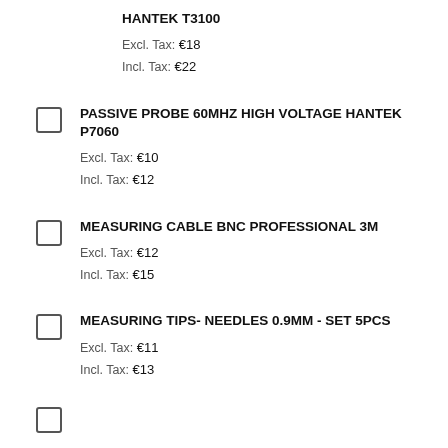HANTEK T3100
Excl. Tax: €18
Incl. Tax: €22
PASSIVE PROBE 60MHZ HIGH VOLTAGE HANTEK P7060
Excl. Tax: €10
Incl. Tax: €12
MEASURING CABLE BNC PROFESSIONAL 3M
Excl. Tax: €12
Incl. Tax: €15
MEASURING TIPS- NEEDLES 0.9MM - SET 5PCS
Excl. Tax: €11
Incl. Tax: €13